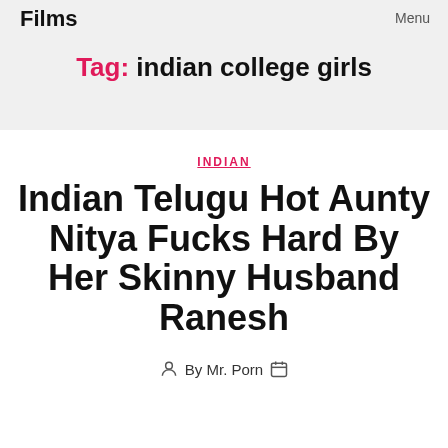Films
Menu
Tag: indian college girls
INDIAN
Indian Telugu Hot Aunty Nitya Fucks Hard By Her Skinny Husband Ranesh
By Mr. Porn